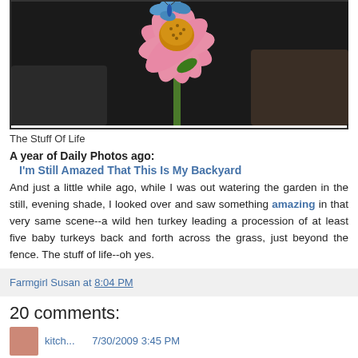[Figure (photo): Close-up photo of a pink coneflower (echinacea) with a blue decorative butterfly ornament, on a dark blurred background.]
The Stuff Of Life
A year of Daily Photos ago:
I'm Still Amazed That This Is My Backyard
And just a little while ago, while I was out watering the garden in the still, evening shade, I looked over and saw something amazing in that very same scene--a wild hen turkey leading a procession of at least five baby turkeys back and forth across the grass, just beyond the fence. The stuff of life--oh yes.
Farmgirl Susan at 8:04 PM
20 comments: